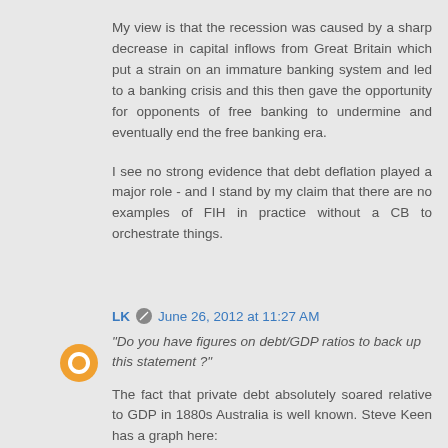My view is that the recession was caused by a sharp decrease in capital inflows from Great Britain which put a strain on an immature banking system and led to a banking crisis and this then gave the opportunity for opponents of free banking to undermine and eventually end the free banking era.
I see no strong evidence that debt deflation played a major role - and I stand by my claim that there are no examples of FIH in practice without a CB to orchestrate things.
LK  June 26, 2012 at 11:27 AM
"Do you have figures on debt/GDP ratios to back up this statement ?"
The fact that private debt absolutely soared relative to GDP in 1880s Australia is well known. Steve Keen has a graph here: